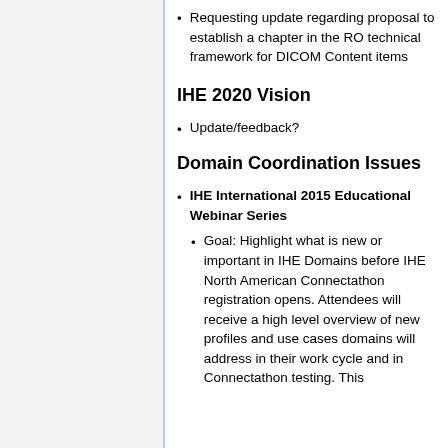Requesting update regarding proposal to establish a chapter in the RO technical framework for DICOM Content items
IHE 2020 Vision
Update/feedback?
Domain Coordination Issues
IHE International 2015 Educational Webinar Series
Goal: Highlight what is new or important in IHE Domains before IHE North American Connectathon registration opens. Attendees will receive a high level overview of new profiles and use cases domains will address in their work cycle and in Connectathon testing. This